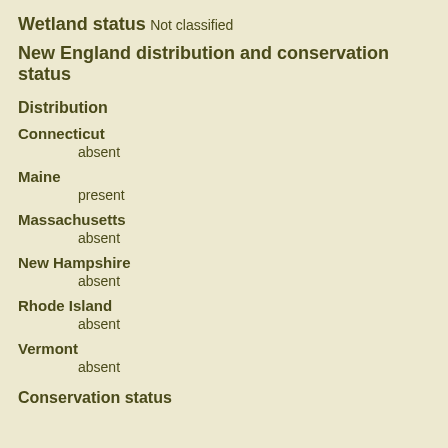Wetland status
Not classified
New England distribution and conservation status
Distribution
Connecticut
        absent
Maine
        present
Massachusetts
        absent
New Hampshire
        absent
Rhode Island
        absent
Vermont
        absent
Conservation status